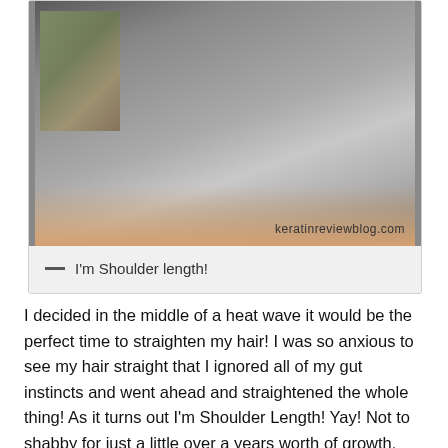[Figure (photo): Back view of a person's shoulder-length hair, gray/dark toned, with a decorative background. Watermark text 'keratinreviewblog.com' visible in lower right of photo.]
— I'm Shoulder length!
I decided in the middle of a heat wave it would be the perfect time to straighten my hair! I was so anxious to see my hair straight that I ignored all of my gut instincts and went ahead and straightened the whole thing! As it turns out I'm Shoulder Length! Yay! Not to shabby for just a little over a years worth of growth.
I shampooed,conditioned, blowdried and flat ironed my hair. I used a mix of Arosci and Kismera products.(reviews coming soon)